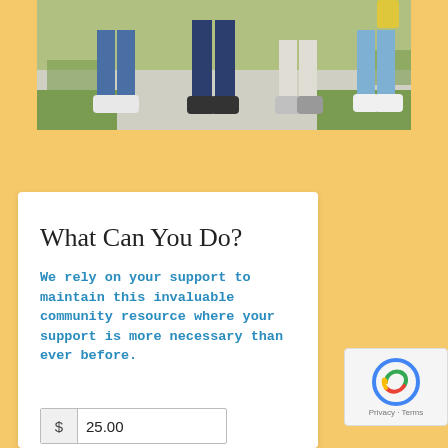[Figure (photo): Photo showing the lower bodies and feet of several people walking on a sidewalk or path, with green grass visible. People are wearing jeans, shorts, and sneakers.]
What Can You Do?
We rely on your support to maintain this invaluable community resource where your support is more necessary than ever before.
$ 25.00